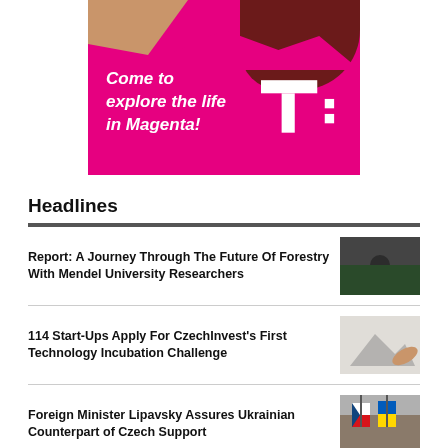[Figure (illustration): T-Mobile advertisement banner with magenta background, italic bold text 'Come to explore the life in Magenta!' and T-Mobile logo. Decorative torn paper / mountain silhouette at top.]
Headlines
Report: A Journey Through The Future Of Forestry With Mendel University Researchers
114 Start-Ups Apply For CzechInvest's First Technology Incubation Challenge
Foreign Minister Lipavsky Assures Ukrainian Counterpart of Czech Support